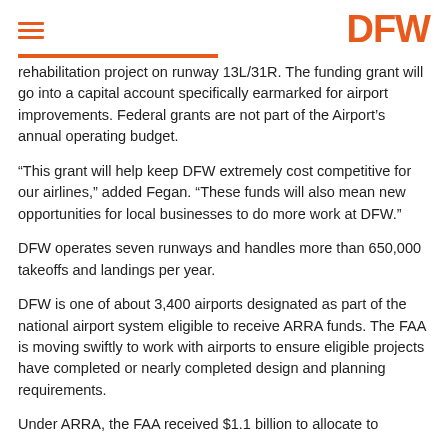DFW
rehabilitation project on runway 13L/31R. The funding grant will go into a capital account specifically earmarked for airport improvements. Federal grants are not part of the Airport's annual operating budget.
“This grant will help keep DFW extremely cost competitive for our airlines,” added Fegan. “These funds will also mean new opportunities for local businesses to do more work at DFW.”
DFW operates seven runways and handles more than 650,000 takeoffs and landings per year.
DFW is one of about 3,400 airports designated as part of the national airport system eligible to receive ARRA funds. The FAA is moving swiftly to work with airports to ensure eligible projects have completed or nearly completed design and planning requirements.
Under ARRA, the FAA received $1.1 billion to allocate to